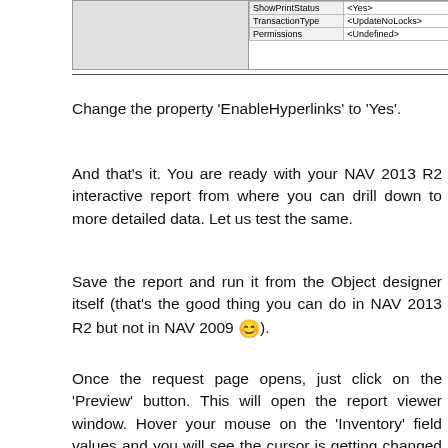[Figure (screenshot): Partial screenshot of a properties table showing rows: ShowPrintStatus <Yes>, TransactionType <UpdateNoLocks>, Permissions <Undefined>]
Change the property 'EnableHyperlinks' to 'Yes'.
And that's it. You are ready with your NAV 2013 R2 interactive report from where you can drill down to more detailed data. Let us test the same.
Save the report and run it from the Object designer itself (that's the good thing you can do in NAV 2013 R2 but not in NAV 2009 😊).
Once the request page opens, just click on the 'Preview' button. This will open the report viewer window. Hover your mouse on the 'Inventory' field values and you will see the cursor is getting changed to a 'hand' denoting that you can drill down from that value. Click on the value and Item ledger entry page will open up with the entries